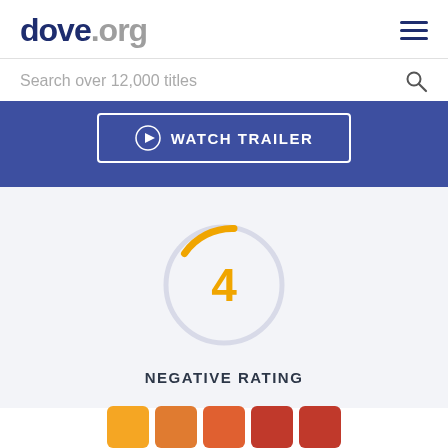dove.org
Search over 12,000 titles
[Figure (screenshot): WATCH TRAILER button on blue background]
[Figure (other): Gauge/dial showing number 4 with an orange arc segment at top, representing a negative rating score]
NEGATIVE RATING
[Figure (infographic): Row of colored rating category icon boxes in orange, amber, and red colors at the bottom of the page]